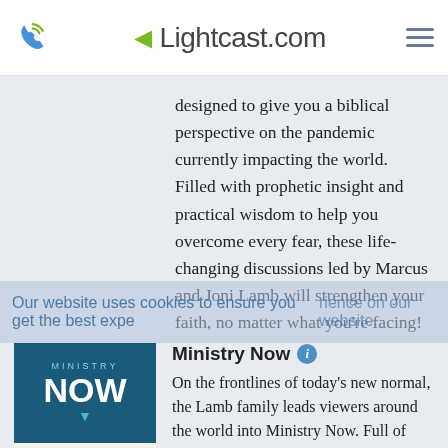Lightcast.com
designed to give you a biblical perspective on the pandemic currently impacting the world. Filled with prophetic insight and practical wisdom to help you overcome every fear, these life-changing discussions led by Marcus and Joni Lamb will strengthen your faith, no matter what you're facing!
Our website uses cookies to ensure you get the best experience on our website.
[Figure (logo): Ministry Now logo — dark teal background with 'MINISTRY' in small caps and 'NOW' in large white bold letters with a teal shield/chevron icon below]
Ministry Now
On the frontlines of today's new normal, the Lamb family leads viewers around the world into Ministry Now. Full of radical faith, encouraging declarations, and positive advice, this program will